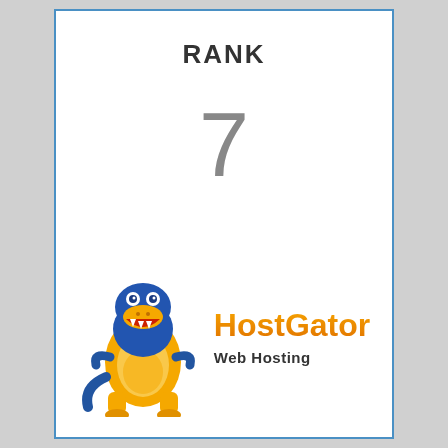RANK
7
[Figure (logo): HostGator mascot gator cartoon character (blue alligator in yellow/gold colors) alongside the HostGator Web Hosting brand name]